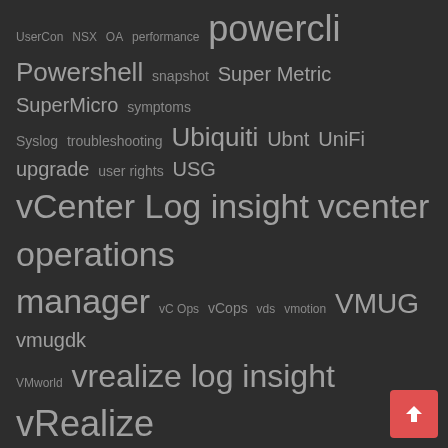UserCon NSX OA performance powercli Powershell snapshot Super Metric SuperMicro symptoms Syslog troubleshooting Ubiquiti Ubnt UniFi upgrade user rights USG vCenter Log insight vcenter operations manager vC Ops vCops vds vmotion VMUG vmugdk VMworld vrealize log insight vRealize Operations Manager vRops vSAN vSphere Wireless
BLOGROLL
Frank Denneman
Perfect Cloud